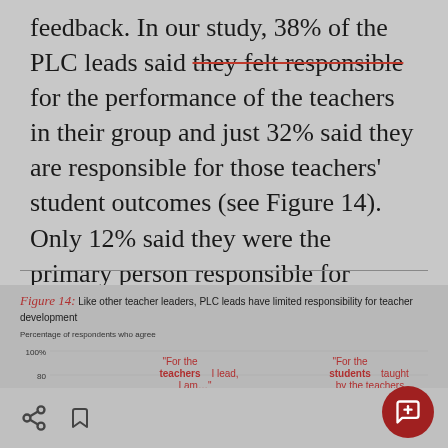feedback. In our study, 38% of the PLC leads said they felt responsible for the performance of the teachers in their group and just 32% said they are responsible for those teachers' student outcomes (see Figure 14). Only 12% said they were the primary person responsible for teacher performance.
Figure 14: Like other teacher leaders, PLC leads have limited responsibility for teacher development
[Figure (bar-chart): Bar chart showing percentage of respondents who agree for two categories related to teacher and student responsibility]